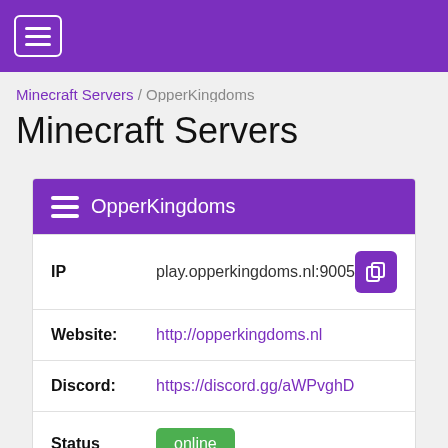☰ (navigation hamburger menu)
Minecraft Servers / OpperKingdoms
Minecraft Servers
OpperKingdoms
| IP | play.opperkingdoms.nl:9005 |
| Website: | http://opperkingdoms.nl |
| Discord: | https://discord.gg/aWPvghD |
| Status | online |
| Players | 0 / 100 |